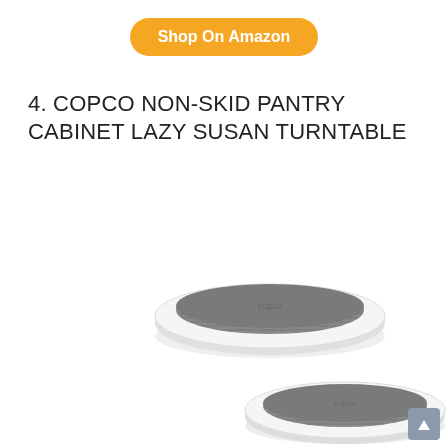Shop On Amazon
4. COPCO NON-SKID PANTRY CABINET LAZY SUSAN TURNTABLE
[Figure (photo): Two Copco non-skid lazy susan turntables with white outer ring and gray textured non-slip surface, one positioned above-left and one below-right, on a white background.]